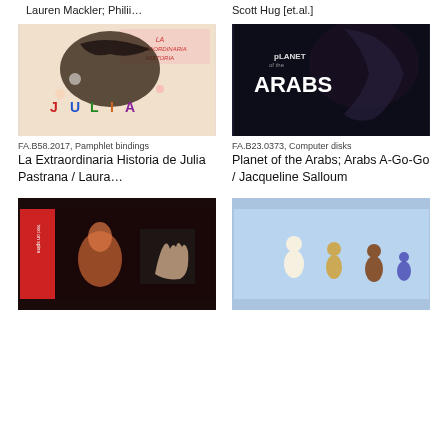Lauren Mackler; Philii…
Scott Hug [et.al.]
[Figure (photo): Book cover of La Extraordinaria Historia de Julia Pastrana, illustrated with dark artistic imagery including bird-like figures and colorful text]
[Figure (photo): Video/film cover showing 'Planet Arabs' text overlay on a dark image of a person's face]
FA.B58.2017, Pamphlet bindings
La Extraordinaria Historia de Julia Pastrana / Laura…
FA.B23.0373, Computer disks
Planet of the Arabs; Arabs A-Go-Go / Jacqueline Salloum
[Figure (photo): Book or record cover with dark background featuring an animal figure and a hand, with red spine]
[Figure (photo): Image showing small animal-like figurines or puppets against a light blue background]